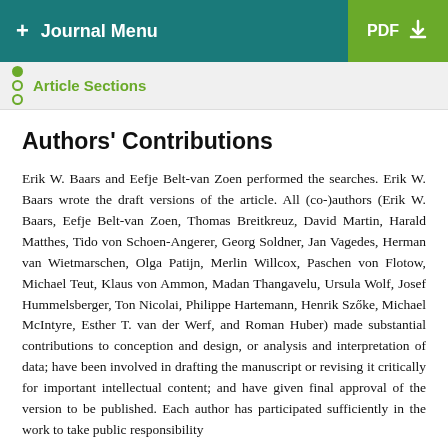+ Journal Menu   PDF ↓
Article Sections
Authors' Contributions
Erik W. Baars and Eefje Belt-van Zoen performed the searches. Erik W. Baars wrote the draft versions of the article. All (co-)authors (Erik W. Baars, Eefje Belt-van Zoen, Thomas Breitkreuz, David Martin, Harald Matthes, Tido von Schoen-Angerer, Georg Soldner, Jan Vagedes, Herman van Wietmarschen, Olga Patijn, Merlin Willcox, Paschen von Flotow, Michael Teut, Klaus von Ammon, Madan Thangavelu, Ursula Wolf, Josef Hummelsberger, Ton Nicolai, Philippe Hartemann, Henrik Szőke, Michael McIntyre, Esther T. van der Werf, and Roman Huber) made substantial contributions to conception and design, or analysis and interpretation of data; have been involved in drafting the manuscript or revising it critically for important intellectual content; and have given final approval of the version to be published. Each author has participated sufficiently in the work to take public responsibility